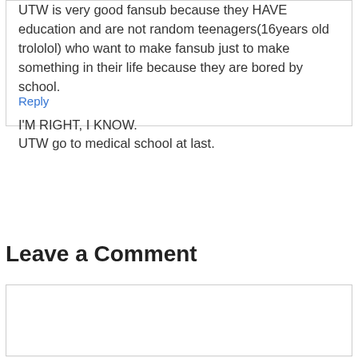UTW is very good fansub because they HAVE education and are not random teenagers(16years old trololol) who want to make fansub just to make something in their life because they are bored by school.

I'M RIGHT, I KNOW.
UTW go to medical school at last.
Reply
Leave a Comment